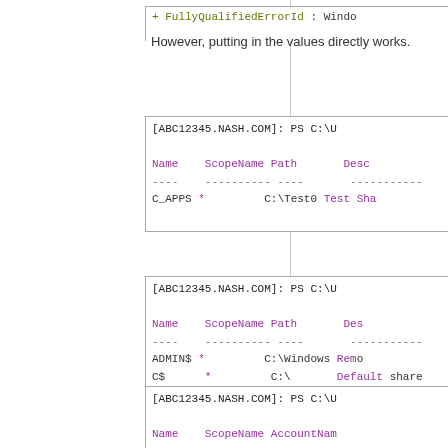[Figure (screenshot): Code screenshot showing top partial line: + FullyQualifiedErrorId : Windo]
However, putting in the values directly works.
[Figure (screenshot): PowerShell terminal output showing [ABC12345.NASH.COM]: PS C:\U with columns Name ScopeName Path Desc, dashes, and row C_APPS * C:\Test0 Test Sha]
[Figure (screenshot): PowerShell terminal output showing [ABC12345.NASH.COM]: PS C:\U with columns Name ScopeName Path Des, dashes, rows: ADMIN$ * C:\Windows Remo, C$ * C:\ Default share, C_APPS * C:\Test0 Test Sh, IPC$ * Remote IPC]
[Figure (screenshot): PowerShell terminal output showing [ABC12345.NASH.COM]: PS C:\U with columns Name ScopeName AccountNam, dashes partial]